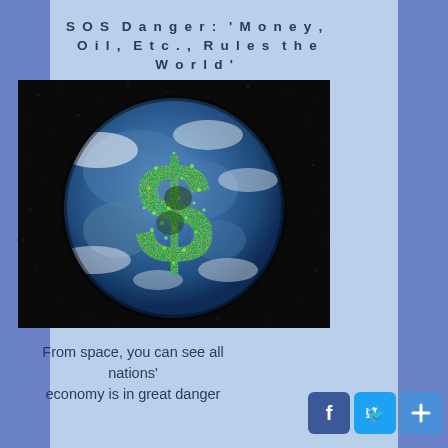SOS Danger: 'Money, Oil, Etc., Rules the World'
[Figure (illustration): Earth globe viewed from space with a large green glittery dollar sign overlaid on it, against a black starry background]
From space, you can see all nations' economy is in great danger